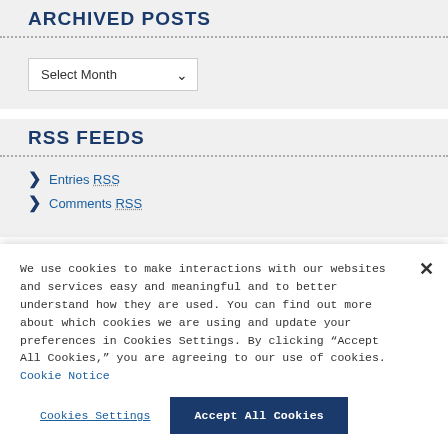ARCHIVED POSTS
[Figure (other): Dropdown select box labeled 'Select Month' with a chevron arrow]
RSS FEEDS
Entries RSS
Comments RSS
We use cookies to make interactions with our websites and services easy and meaningful and to better understand how they are used. You can find out more about which cookies we are using and update your preferences in Cookies Settings. By clicking "Accept All Cookies," you are agreeing to our use of cookies. Cookie Notice
Cookies Settings | Accept All Cookies